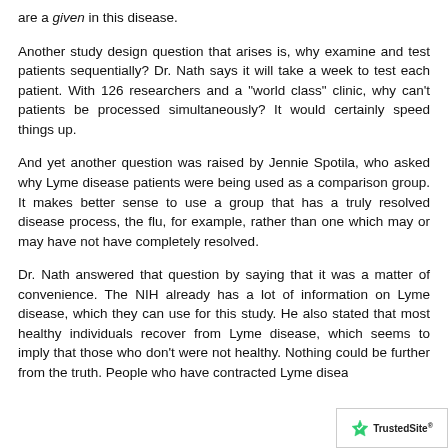are a given in this disease.
Another study design question that arises is, why examine and test patients sequentially? Dr. Nath says it will take a week to test each patient. With 126 researchers and a "world class" clinic, why can't patients be processed simultaneously? It would certainly speed things up.
And yet another question was raised by Jennie Spotila, who asked why Lyme disease patients were being used as a comparison group. It makes better sense to use a group that has a truly resolved disease process, the flu, for example, rather than one which may or may have not have completely resolved.
Dr. Nath answered that question by saying that it was a matter of convenience. The NIH already has a lot of information on Lyme disease, which they can use for this study. He also stated that most healthy individuals recover from Lyme disease, which seems to imply that those who don't were not healthy. Nothing could be further from the truth. People who have contracted Lyme disea…